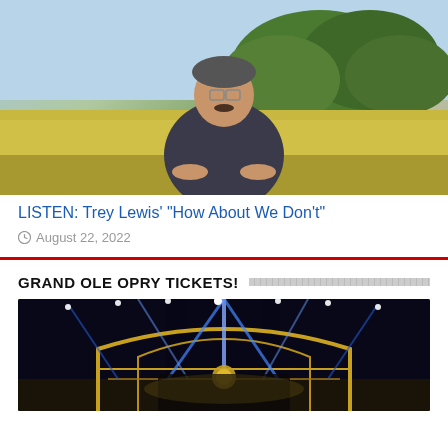[Figure (photo): Photo of Trey Lewis, a man with a mustache and glasses wearing a dark short-sleeve shirt, sitting outdoors with trees and a field in the background]
LISTEN: Trey Lewis’ “How About We Don’t”
August 22, 2022
GRAND OLE OPRY TICKETS!
[Figure (photo): Grand Ole Opry stage with dramatic blue and white stage lighting, golden arch structure visible on stage]